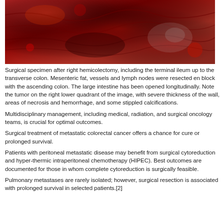[Figure (photo): Surgical specimen after right hemicolectomy showing the terminal ileum up to the transverse colon. The large intestine has been opened longitudinally. Visible tumor on the right lower quadrant with severe thickness of the wall, areas of necrosis and hemorrhage, and stippled calcifications.]
Surgical specimen after right hemicolectomy, including the terminal ileum up to the transverse colon. Mesenteric fat, vessels and lymph nodes were resected en block with the ascending colon. The large intestine has been opened longitudinally. Note the tumor on the right lower quadrant of the image, with severe thickness of the wall, areas of necrosis and hemorrhage, and some stippled calcifications.
Multidisciplinary management, including medical, radiation, and surgical oncology teams, is crucial for optimal outcomes.
Surgical treatment of metastatic colorectal cancer offers a chance for cure or prolonged survival.
Patients with peritoneal metastatic disease may benefit from surgical cytoreduction and hyper-thermic intraperitoneal chemotherapy (HIPEC). Best outcomes are documented for those in whom complete cytoreduction is surgically feasible.
Pulmonary metastases are rarely isolated; however, surgical resection is associated with prolonged survival in selected patients.[2]